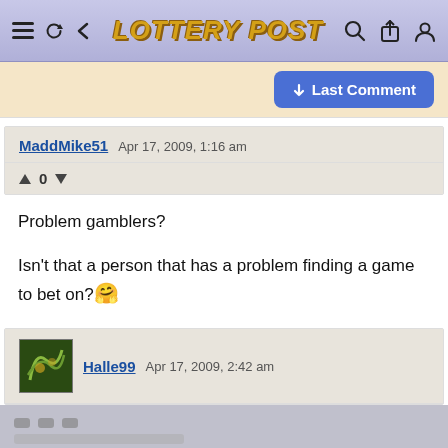LOTTERY POST
↓ Last Comment
MaddMike51  Apr 17, 2009, 1:16 am
▲ 0 ▼
Problem gamblers?
Isn't that a person that has a problem finding a game to bet on?🤗
Halle99  Apr 17, 2009, 2:42 am